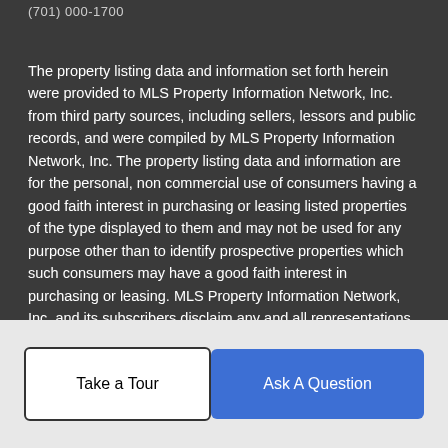(701) 000-1700
The property listing data and information set forth herein were provided to MLS Property Information Network, Inc. from third party sources, including sellers, lessors and public records, and were compiled by MLS Property Information Network, Inc. The property listing data and information are for the personal, non commercial use of consumers having a good faith interest in purchasing or leasing listed properties of the type displayed to them and may not be used for any purpose other than to identify prospective properties which such consumers may have a good faith interest in purchasing or leasing. MLS Property Information Network, Inc. and its subscribers disclaim any and all representations and warranties as to the accuracy of the property listing data and information set forth herein. Data last updated 2022-09-01T00:04:46.207.
Take a Tour
Ask A Question